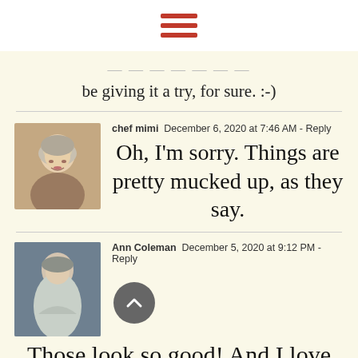[Figure (other): Hamburger menu icon, three red horizontal lines]
be giving it a try, for sure. :-)
chef mimi  December 6, 2020 at 7:46 AM - Reply
Oh, I'm sorry. Things are pretty mucked up, as they say.
[Figure (photo): Avatar photo of chef mimi, woman with short blonde hair]
Ann Coleman  December 5, 2020 at 9:12 PM - Reply
Those look so good! And I love your Christmas mugs too...I'm a fellow Christmas lover!
[Figure (photo): Avatar photo of Ann Coleman, person standing outdoors]